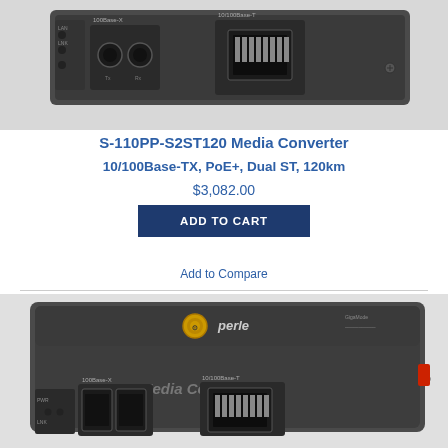[Figure (photo): Top view of a dark gray Perle S-110PP-S2ST120 Media Converter device showing fiber ST connectors labeled 100Base-X and RJ-45 port labeled 10/100Base-T, with LAN and other indicator LEDs on side]
S-110PP-S2ST120 Media Converter
10/100Base-TX, PoE+, Dual ST, 120km
$3,082.00
ADD TO CART
Add to Compare
[Figure (photo): Top/front view of a dark gray Perle Media Converter device showing the Perle logo with golden emblem, 'Media Converter' label, dual SFP/fiber ports labeled 100Base-X, RJ-45 port labeled 10/100Base-T, PWR and LAN indicator LEDs, and a red LED/button on the right side]